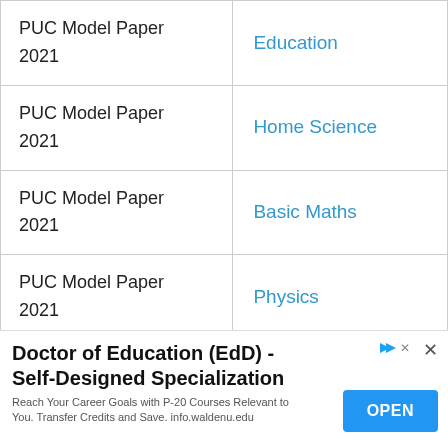|  |  |
| --- | --- |
| PUC Model Paper 2021 | Education |
| PUC Model Paper 2021 | Home Science |
| PUC Model Paper 2021 | Basic Maths |
| PUC Model Paper 2021 | Physics |
Doctor of Education (EdD) - Self-Designed Specialization
Reach Your Career Goals with P-20 Courses Relevant to You. Transfer Credits and Save. info.waldenu.edu